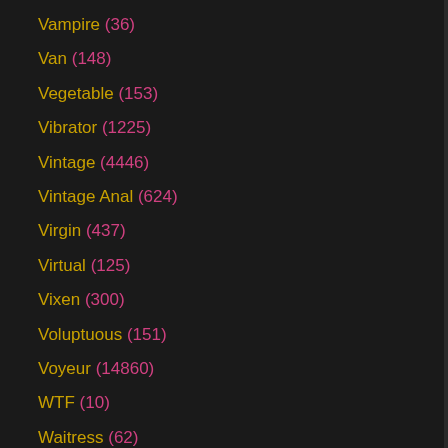Vampire (36)
Van (148)
Vegetable (153)
Vibrator (1225)
Vintage (4446)
Vintage Anal (624)
Virgin (437)
Virtual (125)
Vixen (300)
Voluptuous (151)
Voyeur (14860)
WTF (10)
Waitress (62)
Wanking (713)
Watching (449)